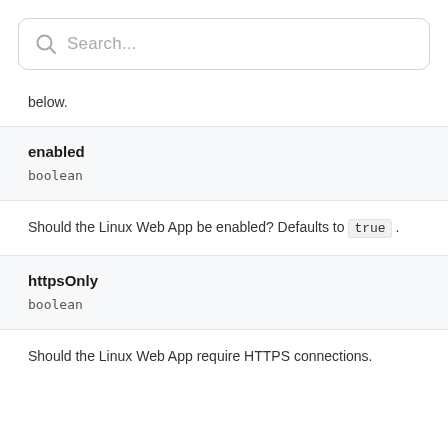[Figure (screenshot): Search input box with placeholder text 'Search...' and a magnifying glass icon on the left]
below.
enabled
boolean
Should the Linux Web App be enabled? Defaults to true .
httpsOnly
boolean
Should the Linux Web App require HTTPS connections.